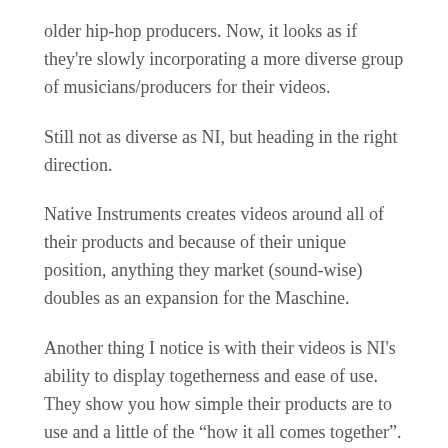older hip-hop producers. Now, it looks as if they're slowly incorporating a more diverse group of musicians/producers for their videos.
Still not as diverse as NI, but heading in the right direction.
Native Instruments creates videos around all of their products and because of their unique position, anything they market (sound-wise) doubles as an expansion for the Maschine.
Another thing I notice is with their videos is NI's ability to display togetherness and ease of use. They show you how simple their products are to use and a little of the “how it all comes together”.